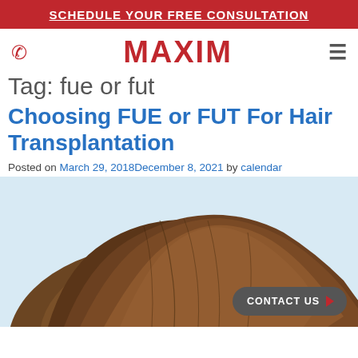SCHEDULE YOUR FREE CONSULTATION
MAXIM
Tag: fue or fut
Choosing FUE or FUT For Hair Transplantation
Posted on March 29, 2018December 8, 2021 by calendar
[Figure (photo): Close-up photo of the back of a person's head showing brown hair, used to illustrate hair transplantation article. A 'CONTACT US' button overlay is visible in the bottom right.]